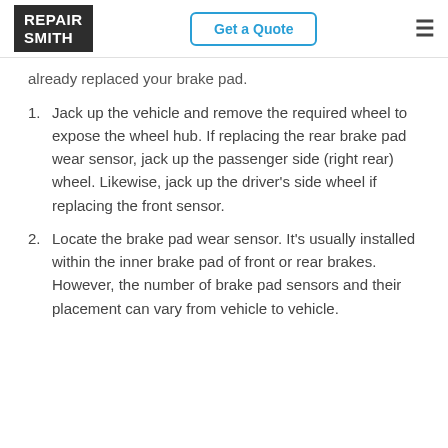RepairSmith | Get a Quote
already replaced your brake pad.
Jack up the vehicle and remove the required wheel to expose the wheel hub. If replacing the rear brake pad wear sensor, jack up the passenger side (right rear) wheel. Likewise, jack up the driver’s side wheel if replacing the front sensor.
Locate the brake pad wear sensor. It’s usually installed within the inner brake pad of front or rear brakes. However, the number of brake pad sensors and their placement can vary from vehicle to vehicle.